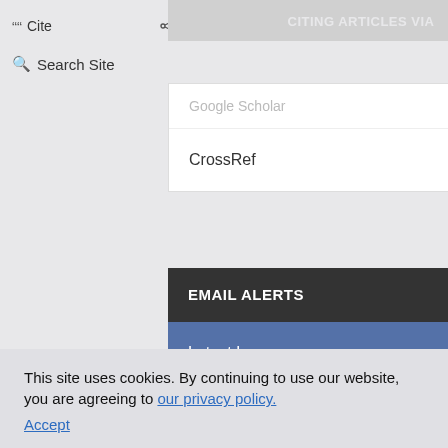Cite   Share   Permissions
CITING ARTICLES VIA
Search Site
Google Scholar
CrossRef
EMAIL ALERTS
Latest Issue
RELATED ARTICLES
This site uses cookies. By continuing to use our website, you are agreeing to our privacy policy.
Accept
Art of Asia Acquired by North